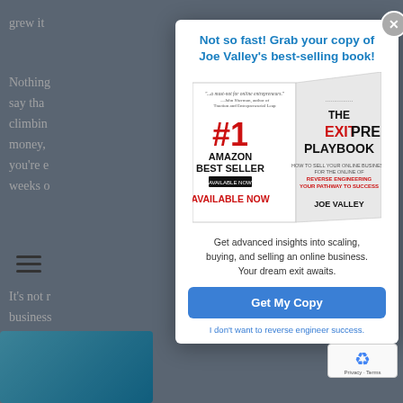grew it a year.
Nothing fe to say tha ttle like climbin of money, point, you're e ar and weeks o
It's not r e business hands of dollars pt happen
Not so fast! Grab your copy of Joe Valley's best-selling book!
[Figure (photo): Book cover of 'The Exitpreneur's Playbook' by Joe Valley, labeled as #1 Amazon Best Seller, Available Now]
Get advanced insights into scaling, buying, and selling an online business. Your dream exit awaits.
Get My Copy
I don't want to reverse engineer success.